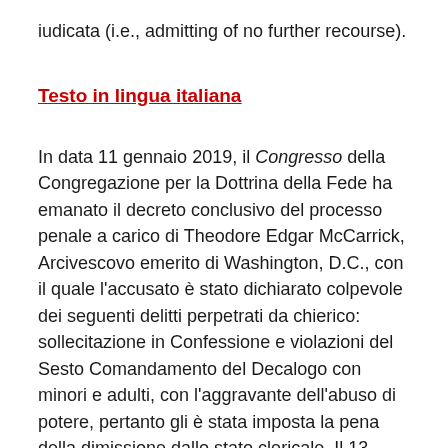iudicata (i.e., admitting of no further recourse).
Testo in lingua italiana
In data 11 gennaio 2019, il Congresso della Congregazione per la Dottrina della Fede ha emanato il decreto conclusivo del processo penale a carico di Theodore Edgar McCarrick, Arcivescovo emerito di Washington, D.C., con il quale l'accusato è stato dichiarato colpevole dei seguenti delitti perpetrati da chierico: sollecitazione in Confessione e violazioni del Sesto Comandamento del Decalogo con minori e adulti, con l'aggravante dell'abuso di potere, pertanto gli è stata imposta la pena della dimissione dallo stato clericale. Il 13 febbraio 2019 la Sessione Ordinaria (Feria IV) della Congregazione per la Dottrina della Fede ha esaminato gli argomenti presentati nel ricorso del ricorrente e ha deciso di confermare il decreto del Congresso. Questa decisione è stata notificata a